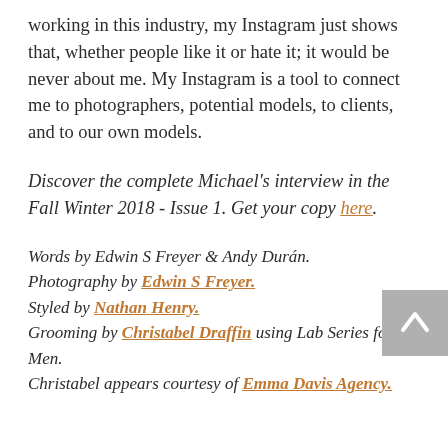working in this industry, my Instagram just shows that, whether people like it or hate it; it would be never about me. My Instagram is a tool to connect me to photographers, potential models, to clients, and to our own models.
Discover the complete Michael's interview in the Fall Winter 2018 - Issue 1. Get your copy here.
Words by Edwin S Freyer & Andy Durán. Photography by Edwin S Freyer. Styled by Nathan Henry. Grooming by Christabel Draffin using Lab Series for Men. Christabel appears courtesy of Emma Davis Agency.